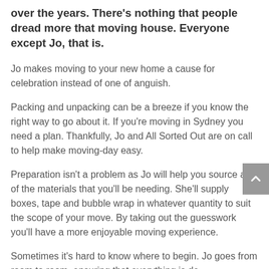over the years. There's nothing that people dread more that moving house. Everyone except Jo, that is.
Jo makes moving to your new home a cause for celebration instead of one of anguish.
Packing and unpacking can be a breeze if you know the right way to go about it. If you're moving in Sydney you need a plan. Thankfully, Jo and All Sorted Out are on call to help make moving-day easy.
Preparation isn't a problem as Jo will help you source all of the materials that you'll be needing. She'll supply boxes, tape and bubble wrap in whatever quantity to suit the scope of your move. By taking out the guesswork you'll have a more enjoyable moving experience.
Sometimes it's hard to know where to begin. Jo goes from room to room, ensuring that everything is de-